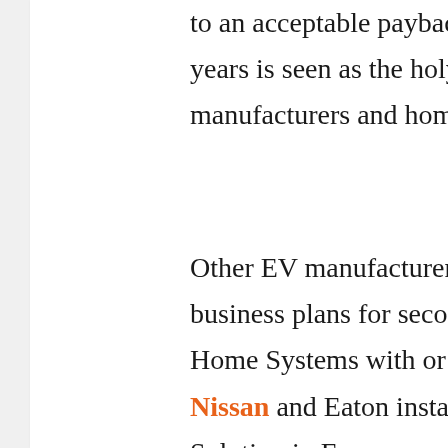to an acceptable payback of between five and seven years is seen as the holy grail for system manufacturers and homeowners.
Other EV manufacturers have already pursued business plans for second life batteries in Battery Home Systems with or without Solar. In June 2016 Nissan and Eaton installed an Energy Storage Solution in France, created from “second life” Nissan Leaf batteries. Nissan installed the Energy Storage Solution at WEBaxys, a data center. In the same month, BMW announced that it would follow Daimler, Nissan, and Tesla in creating second life energy storage systems for residential and commercial use. Second life battery systems would